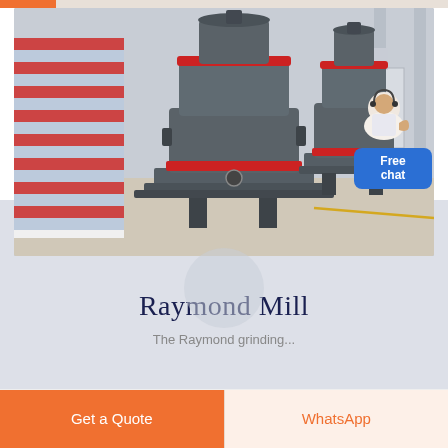[Figure (photo): Industrial Raymond Mill grinding machines in a factory setting. Three large dark grey cylindrical grinding mill machines are visible, with red accent rings near the top. The leftmost machine has a red/white striped cover. The factory floor is light-coloured concrete. A customer service representative avatar appears in the upper right corner.]
Free chat
Raymond Mill
The Raymond grinding...
Get a Quote
WhatsApp